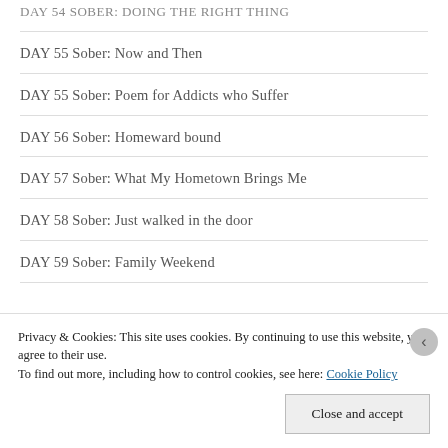DAY 54 SOBER: DOING THE RIGHT THING
DAY 55 Sober: Now and Then
DAY 55 Sober: Poem for Addicts who Suffer
DAY 56 Sober: Homeward bound
DAY 57 Sober: What My Hometown Brings Me
DAY 58 Sober: Just walked in the door
DAY 59 Sober: Family Weekend
Privacy & Cookies: This site uses cookies. By continuing to use this website, you agree to their use.
To find out more, including how to control cookies, see here: Cookie Policy
Close and accept